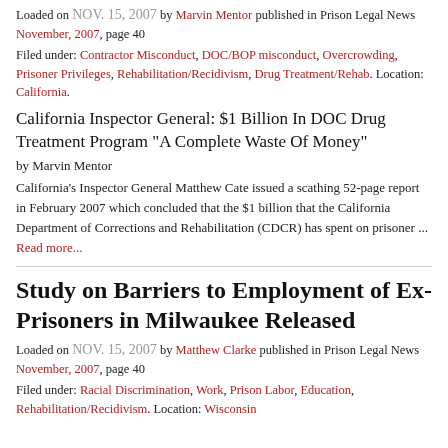Loaded on NOV. 15, 2007 by Marvin Mentor published in Prison Legal News November, 2007, page 40
Filed under: Contractor Misconduct, DOC/BOP misconduct, Overcrowding, Prisoner Privileges, Rehabilitation/Recidivism, Drug Treatment/Rehab. Location: California.
California Inspector General: $1 Billion In DOC Drug Treatment Program "A Complete Waste Of Money"
by Marvin Mentor
California's Inspector General Matthew Cate issued a scathing 52-page report in February 2007 which concluded that the $1 billion that the California Department of Corrections and Rehabilitation (CDCR) has spent on prisoner ...
Read more...
Study on Barriers to Employment of Ex-Prisoners in Milwaukee Released
Loaded on NOV. 15, 2007 by Matthew Clarke published in Prison Legal News November, 2007, page 40
Filed under: Racial Discrimination, Work, Prison Labor, Education, Rehabilitation/Recidivism. Location: Wisconsin